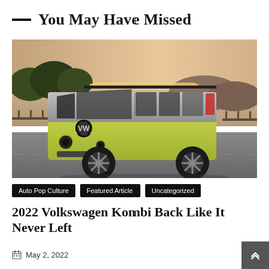You May Have Missed
[Figure (photo): A lime green Volkswagen ID. Buzz electric van concept parked on a coastal road with surfboards on the roof rack, ocean and rocky coastline in the background, shot in golden light.]
Auto Pop Culture   Featured Article   Uncategorized
2022 Volkswagen Kombi Back Like It Never Left
May 2, 2022